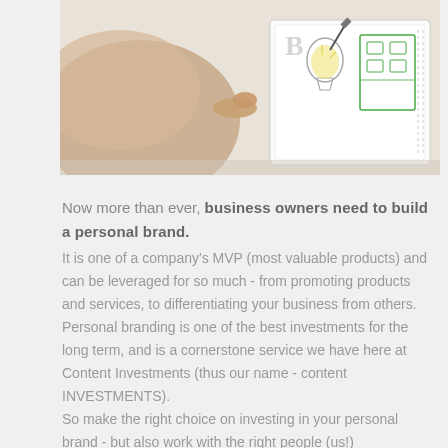[Figure (photo): Photo of a person's hand pointing at a paper with a lightbulb sketch and what appears to be a business/brand diagram on a tablet or paper]
Now more than ever, business owners need to build a personal brand. It is one of a company's MVP (most valuable products) and can be leveraged for so much - from promoting products and services, to differentiating your business from others. Personal branding is one of the best investments for the long term, and is a cornerstone service we have here at Content Investments (thus our name - content INVESTMENTS). So make the right choice on investing in your personal brand - but also work with the right people (us!)